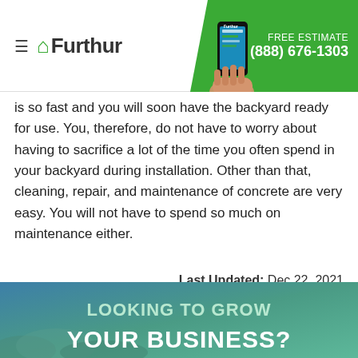Furthur | FREE ESTIMATE (888) 676-1303
is so fast and you will soon have the backyard ready for use. You, therefore, do not have to worry about having to sacrifice a lot of the time you often spend in your backyard during installation. Other than that, cleaning, repair, and maintenance of concrete are very easy. You will not have to spend so much on maintenance either.
Last Updated: Dec 22, 2021
CALL NOW FOR A FREE ESTIMATE (888) 676-1303
[Figure (infographic): Looking to grow your business? banner with teal/blue gradient background]